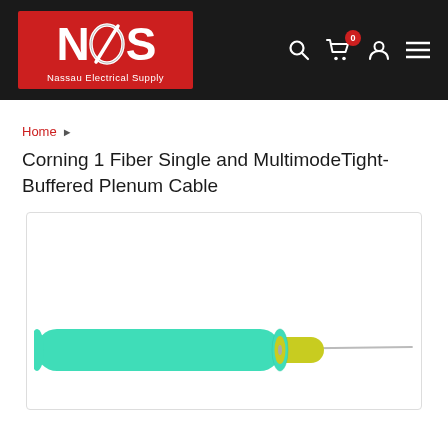[Figure (logo): Nassau Electrical Supply (NES) logo — red rectangle with white stylized letters N, circle/slash, S and tagline 'Nassau Electrical Supply']
Home ▸
Corning 1 Fiber Single and MultimodeTight-Buffered Plenum Cable
[Figure (photo): Product photo of a Corning 1 Fiber tight-buffered plenum cable showing cross-section with teal/aqua outer jacket, yellow-green inner buffer, and exposed grey fiber filament extending to the right.]